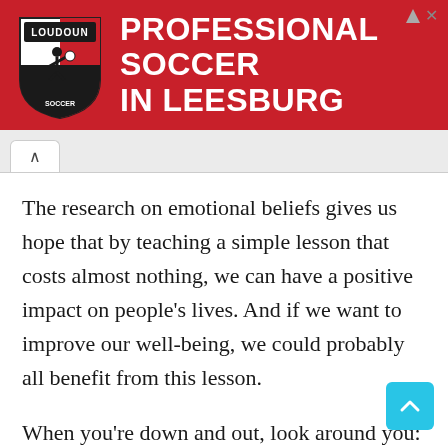[Figure (other): Red advertisement banner for Loudoun Soccer featuring shield logo and white bold text reading PROFESSIONAL SOCCER IN LEESBURG]
The research on emotional beliefs gives us hope that by teaching a simple lesson that costs almost nothing, we can have a positive impact on people's lives. And if we want to improve our well-being, we could probably all benefit from this lesson.
When you're down and out, look around you: are the people who